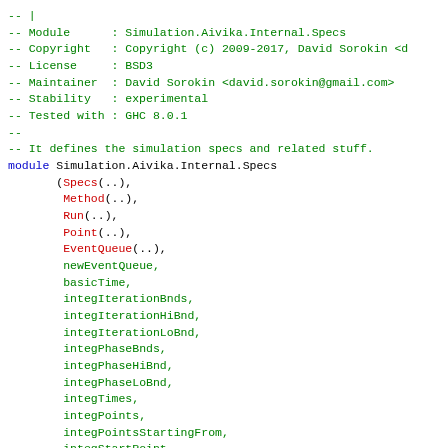-- |
-- Module      : Simulation.Aivika.Internal.Specs
-- Copyright   : Copyright (c) 2009-2017, David Sorokin <d
-- License     : BSD3
-- Maintainer  : David Sorokin <david.sorokin@gmail.com>
-- Stability   : experimental
-- Tested with : GHC 8.0.1
--
-- It defines the simulation specs and related stuff.
module Simulation.Aivika.Internal.Specs
       (Specs(..),
        Method(..),
        Run(..),
        Point(..),
        EventQueue(..),
        newEventQueue,
        basicTime,
        integIterationBnds,
        integIterationHiBnd,
        integIterationLoBnd,
        integPhaseBnds,
        integPhaseHiBnd,
        integPhaseLoBnd,
        integTimes,
        integPoints,
        integPointsStartingFrom,
        integStartPoint,
        integStopPoint,